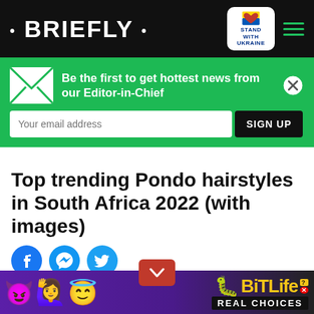• BRIEFLY •
[Figure (infographic): Green newsletter signup banner with envelope icon, text 'Be the first to get hottest news from our Editor-in-Chief', email input field, and SIGN UP button]
Top trending Pondo hairstyles in South Africa 2022 (with images)
[Figure (infographic): Social sharing icons row: Facebook, Messenger, Twitter]
Sunday, July 03, 2022 at 9:40 PM • by Bennett Yates
Hair is an essential part of any look. Ensuring your hairstyle is trendy and appropriate for your face shape plays a vital role in boosting self-esteem and
[Figure (screenshot): BitLife advertisement banner with emoji characters and 'REAL CHOICES' text]